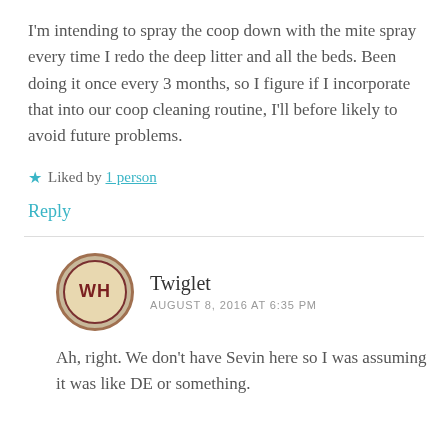I'm intending to spray the coop down with the mite spray every time I redo the deep litter and all the beds. Been doing it once every 3 months, so I figure if I incorporate that into our coop cleaning routine, I'll before likely to avoid future problems.
★ Liked by 1 person
Reply
Twiglet
AUGUST 8, 2016 AT 6:35 PM
Ah, right. We don't have Sevin here so I was assuming it was like DE or something.